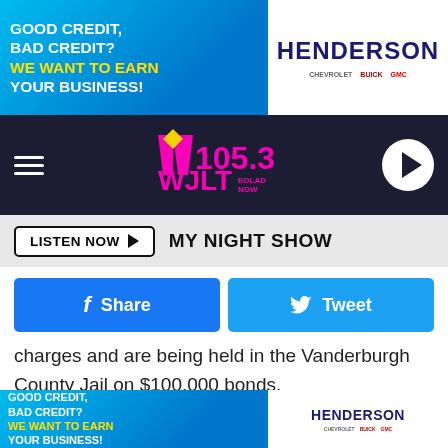[Figure (photo): Top advertisement banner: Henderson Chevrolet Buick GMC dealership ad with 'Good credit, bad credit? We want to earn your business!' text and Henderson logo with dealership brand logos]
[Figure (logo): MY 105.3 WJLT radio station logo and navigation bar with hamburger menu and play button]
[Figure (screenshot): Listen Now button with MY NIGHT SHOW text]
[Figure (screenshot): Facebook Share button and Twitter Tweet button]
charges and are being held in the Vanderburgh County Jail on $100,000 bonds.
[Figure (photo): Henderson dealership advertisement: WE'RE OFFERING TOP DOLLAR CA$H ON-THE-SPOT FOR YOUR PRE-OWNED VEHICLES! with image of smiling man and dealership storefront]
[Figure (photo): Bottom advertisement banner: Henderson Chevrolet Buick GMC dealership ad with 'Good credit, bad credit? We want to earn your business!' text and Henderson logo]